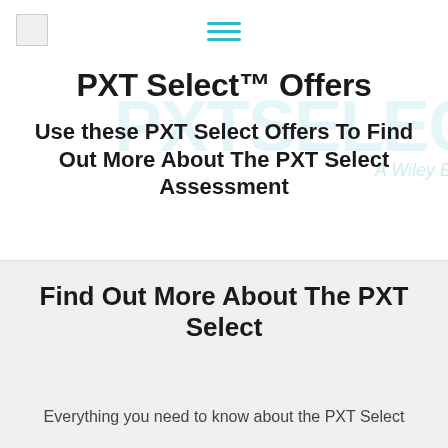[Figure (logo): Small logo image placeholder in top left corner]
[Figure (other): Hamburger menu icon with three teal horizontal lines centered at top]
PXT Select™ Offers
Use these PXT Select Offers To Find Out More About The PXT Select Assessment
Find Out More About The PXT Select
Everything you need to know about the PXT Select